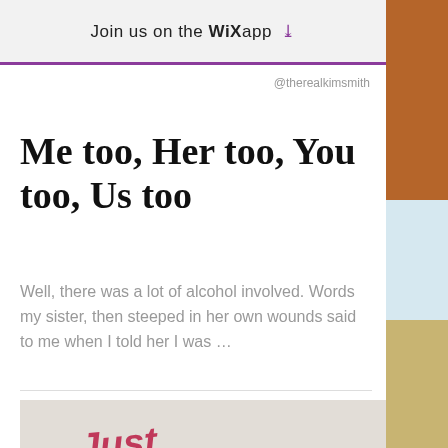Join us on the WiX app ↓
@therealkimsmith
Me too, Her too, You too, Us too
Well, there was a lot of alcohol involved. Words my sister, then steeped in her own wounds said to me when I told her I was ...
[Figure (photo): Graffiti on a white wall reading 'Just Fucking DO IT' in red spray paint]